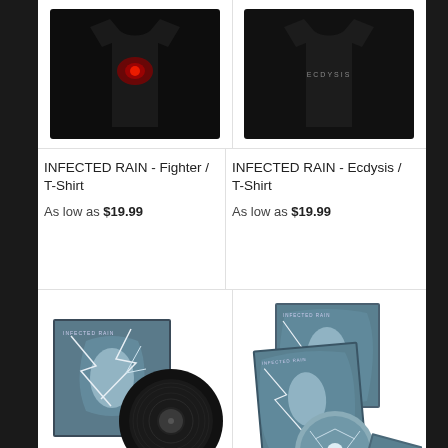[Figure (photo): Black t-shirt with red graphic design (Fighter), product image on dark background]
[Figure (photo): Black t-shirt with Ecdysis text, product image on dark background]
INFECTED RAIN - Fighter / T-Shirt
As low as $19.99
INFECTED RAIN - Ecdysis / T-Shirt
As low as $19.99
[Figure (photo): Infected Rain - Ecdysis vinyl LP record with album artwork showing figure in snow/ice]
[Figure (photo): Infected Rain - Ecdysis CD with album artwork and booklet showing figure in snow/ice]
INFECTED RAIN - Ecdysis /
INFECTED RAIN - Ecdysis /